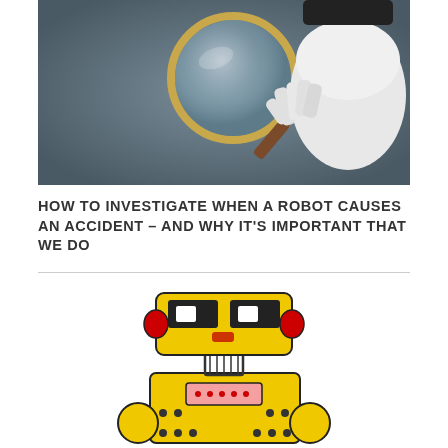[Figure (photo): A white robotic hand holding a magnifying glass with a gold rim, against a gray background.]
HOW TO INVESTIGATE WHEN A ROBOT CAUSES AN ACCIDENT – AND WHY IT'S IMPORTANT THAT WE DO
[Figure (photo): A yellow vintage toy robot with red accents, white square eyes, and a coiled spring neck, photographed from the front against a white background.]